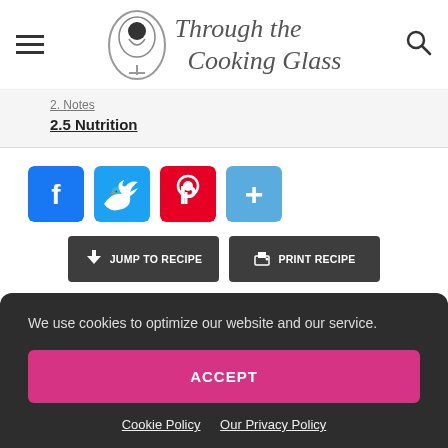Through the Cooking Glass
2.5 Nutrition
[Figure (other): Social share buttons: Facebook, Twitter, Pinterest, More]
JUMP TO RECIPE   PRINT RECIPE
We use cookies to optimize our website and our service.
ACCEPT
Cookie Policy   Our Privacy Policy